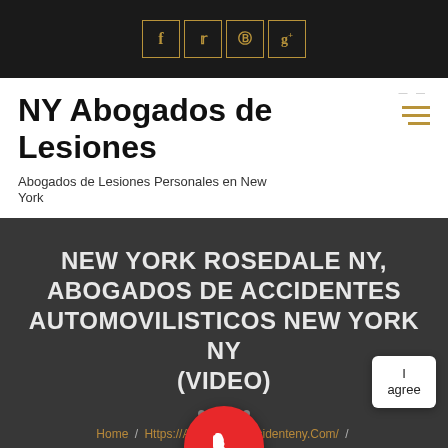[Figure (screenshot): Top navigation bar with social media icons (Facebook, Twitter, Pinterest, Google+) in gold-bordered squares on dark background]
NY Abogados de Lesiones
Abogados de Lesiones Personales en New York
NEW YORK ROSEDALE NY, ABOGADOS DE ACCIDENTES AUTOMOVILISTICOS NEW YORK NY (VIDEO)
Home / Https://Abogadodeaccidenteny.Com/ / NEW YORK Rosedale NY, Abogados De Accidentes Automovilisticos NEW YORK NY (VIDEO)
Terms